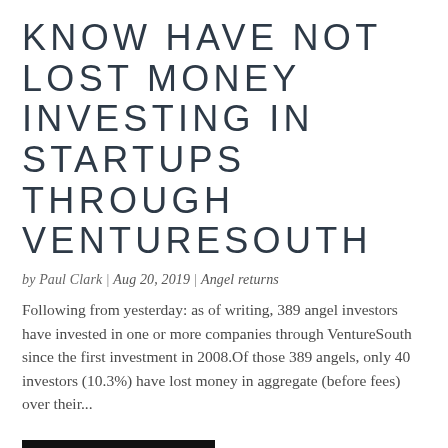KNOW HAVE NOT LOST MONEY INVESTING IN STARTUPS THROUGH VENTURESOUTH
by Paul Clark | Aug 20, 2019 | Angel returns
Following from yesterday: as of writing, 389 angel investors have invested in one or more companies through VentureSouth since the first investment in 2008.Of those 389 angels, only 40 investors (10.3%) have lost money in aggregate (before fees) over their...
READ MORE